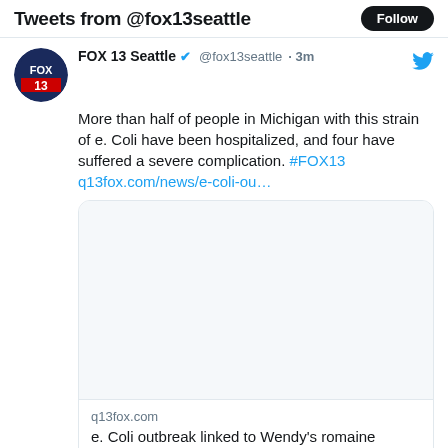Tweets from @fox13seattle
FOX 13 Seattle @fox13seattle · 3m
More than half of people in Michigan with this strain of e. Coli have been hospitalized, and four have suffered a severe complication. #FOX13 q13fox.com/news/e-coli-ou…
[Figure (screenshot): Link card image placeholder (empty gray area)]
q13fox.com
e. Coli outbreak linked to Wendy's romaine lettuce larger than initial CDC reports